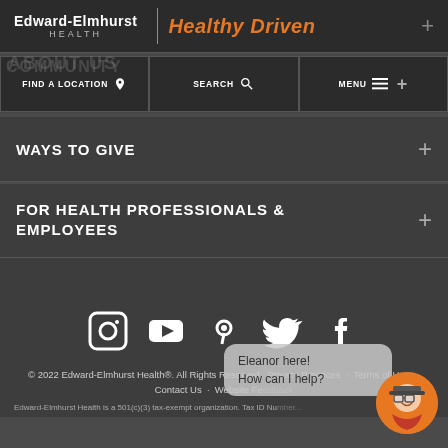[Figure (logo): Edward-Elmhurst Health logo with 'Healthy Driven' tagline in orange italic text]
FIND A LOCATION | SEARCH | MENU
WAYS TO GIVE
FOR HEALTH PROFESSIONALS & EMPLOYEES
[Figure (illustration): Social media icons: Instagram, YouTube, Pinterest, Twitter, Facebook — white on dark background]
© 2022 Edward-Elmhurst Health®. All Rights Reserved   Privacy Practices  ·  Terms of Use  ·  Contact Us  ·  Website Feedback
Edward-Elmhurst Health is a 501(c)(3) tax-exempt organization. Tax ID Nu...